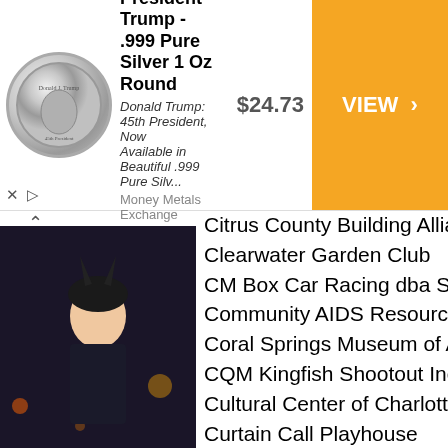[Figure (screenshot): Advertisement banner for President Trump .999 Pure Silver 1 Oz Round coin, priced at $24.73, with orange VIEW > call-to-action button. Description: Donald Trump: 45th President, Now Available in Beautiful .999 Pure Silv... Money Metals Exchange.]
[Figure (photo): Photo of a woman in cosplay costume at a nighttime event]
Amazing Female Cosplay Costumes
[Figure (photo): Photo of a sign reading PLEASE TRY TO WALK WITHOUT WALKING]
We are so Confused by these Hilarious Poorly Designed Signs
Citrus County Building Alliance
Clearwater Garden Club
CM Box Car Racing dba Sunshine Sta
Community AIDS Resource Inc
Coral Springs Museum of Art
CQM Kingfish Shootout Inc.
Cultural Center of Charlotte Country In
Curtain Call Playhouse
Deerfield Beach Historical Society
Delray Beach Playhouse
Dunedin Highland Games & Festival C
East Hillsborough Historical Society
Epic Missions Inc
Epilepsy Services Foundation, Inc.
Everything for Dads
Faith Lutheran Church
Firehouse Cultural Center
Firehouse Cultural Center
First Unity Spiritual Campus
Five Flags Dogs Training Club of Pens